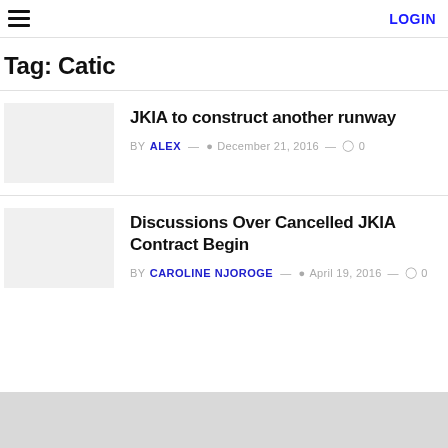LOGIN
Tag: Catic
JKIA to construct another runway — BY ALEX — December 21, 2016 — 0 comments
Discussions Over Cancelled JKIA Contract Begin — BY CAROLINE NJOROGE — April 19, 2016 — 0 comments